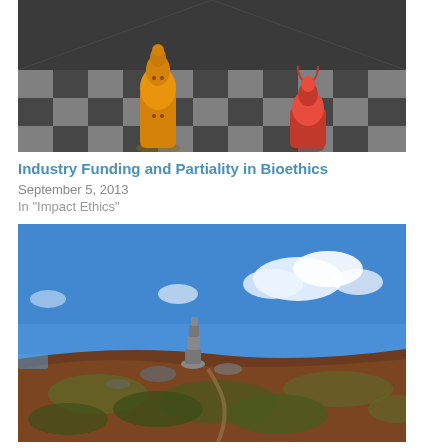[Figure (photo): Artistic painting of two chess-piece-like figures on a large checkered floor — one tall yellow/orange figure and one shorter red/pink figure facing each other]
Industry Funding and Partiality in Bioethics
September 5, 2013
In "Impact Ethics"
[Figure (photo): Landscape photo of a rocky hillside with a cairn or stacked rocks under a blue sky with white clouds]
Being and Becoming Compromised: Conflicts of Interest in Bioethics